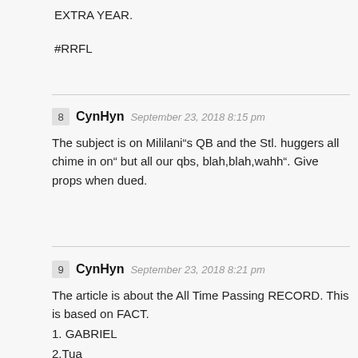EXTRA YEAR.
#RRFL
8  CynHyn  September 23, 2018 8:15 pm
The subject is on Mililani”s QB and the Stl. huggers all chime in on” but all our qbs, blah,blah,wahh”. Give props when dued.
9  CynHyn  September 23, 2018 8:21 pm
The article is about the All Time Passing RECORD. This is based on FACT.
1. GABRIEL
2.Tua
3. Chang.